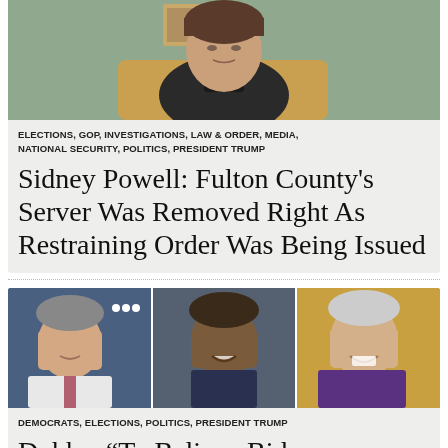[Figure (photo): Woman seated, wearing black turtleneck, light green background]
ELECTIONS, GOP, INVESTIGATIONS, LAW & ORDER, MEDIA, NATIONAL SECURITY, POLITICS, PRESIDENT TRUMP
Sidney Powell: Fulton County's Server Was Removed Right As Restraining Order Was Being Issued
[Figure (photo): Three-panel collage: man on left (TV host), Barack Obama center, Joe Biden right, smiling]
DEMOCRATS, ELECTIONS, POLITICS, PRESIDENT TRUMP
Dobbs: “To Believe Biden Received…